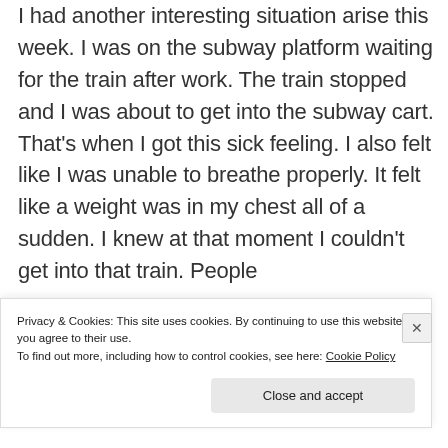I had another interesting situation arise this week. I was on the subway platform waiting for the train after work. The train stopped and I was about to get into the subway cart. That’s when I got this sick feeling. I also felt like I was unable to breathe properly. It felt like a weight was in my chest all of a sudden. I knew at that moment I couldn’t get into that train. People
Privacy & Cookies: This site uses cookies. By continuing to use this website, you agree to their use.
To find out more, including how to control cookies, see here: Cookie Policy